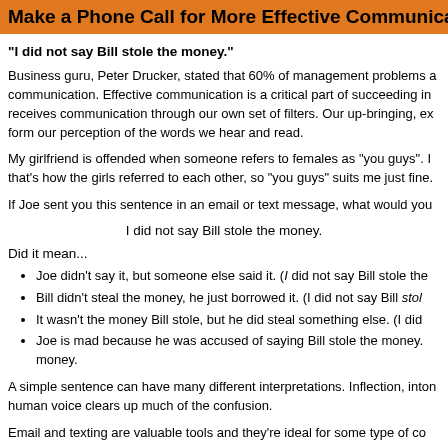Make a Phone Call for More Effective Communication
"I did not say Bill stole the money."
Business guru, Peter Drucker, stated that 60% of management problems a communication. Effective communication is a critical part of succeeding in receives communication through our own set of filters. Our up-bringing, ex form our perception of the words we hear and read.
My girlfriend is offended when someone refers to females as "you guys". I that's how the girls referred to each other, so "you guys" suits me just fine.
If Joe sent you this sentence in an email or text message, what would you
I did not say Bill stole the money.
Did it mean...
Joe didn't say it, but someone else said it. (I did not say Bill stole the
Bill didn't steal the money, he just borrowed it. (I did not say Bill stol
It wasn't the money Bill stole, but he did steal something else. (I did
Joe is mad because he was accused of saying Bill stole the money. money.
A simple sentence can have many different interpretations. Inflection, inton human voice clears up much of the confusion.
Email and texting are valuable tools and they're ideal for some type of co